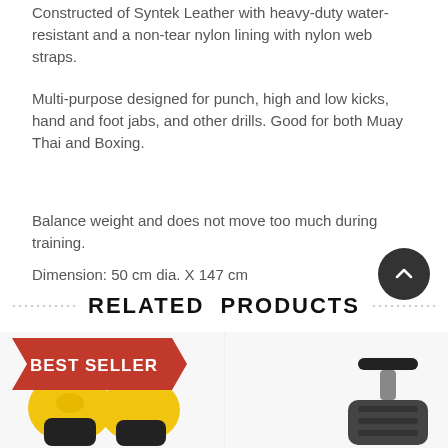Constructed of Syntek Leather with heavy-duty water-resistant and a non-tear nylon lining with nylon web straps.
Multi-purpose designed for punch, high and low kicks, hand and foot jabs, and other drills. Good for both Muay Thai and Boxing.
Balance weight and does not move too much during training.
Dimension: 50 cm dia. X 147 cm
Approximate weight after fill: 61 kgs
RELATED PRODUCTS
[Figure (photo): Best Seller badge (red ribbon) with yellow and black boxing gloves product image on the left, and a weight bag handle product on the right.]